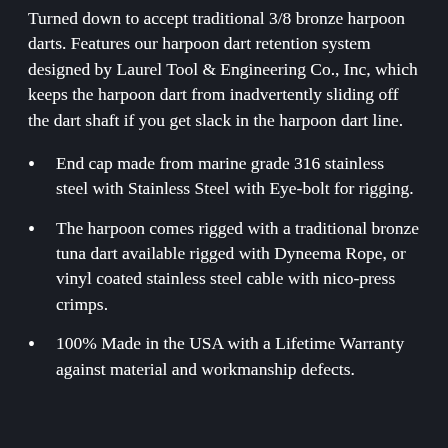Turned down to accept traditional 3/8 bronze harpoon darts. Features our harpoon dart retention system designed by Laurel Tool & Engineering Co., Inc, which keeps the harpoon dart from inadvertently sliding off the dart shaft if you get slack in the harpoon dart line.
End cap made from marine grade 316 stainless steel with Stainless Steel with Eye-bolt for rigging.
The harpoon comes rigged with a traditional bronze tuna dart available rigged with Dyneema Rope, or vinyl coated stainless steel cable with nico-press crimps.
100% Made in the USA with a Lifetime Warranty against material and workmanship defects.